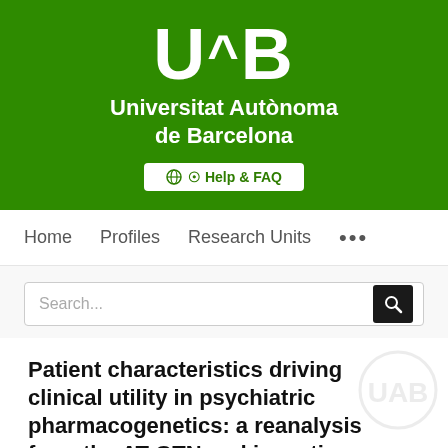[Figure (logo): UAB (Universitat Autònoma de Barcelona) logo on green background with Help & FAQ button]
Home   Profiles   Research Units   ...
Search...
Patient characteristics driving clinical utility in psychiatric pharmacogenetics: a reanalysis from the AT-GTN and inception...